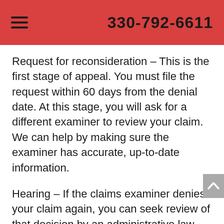330-792-6611
Request for reconsideration – This is the first stage of appeal. You must file the request within 60 days from the denial date. At this stage, you will ask for a different examiner to review your claim. We can help by making sure the examiner has accurate, up-to-date information.
Hearing – If the claims examiner denies your claim again, you can seek review of that decision by an administrative law judge (ALJ). You must request this hearing within 60 days after your reconsidered claim was denied. Your case will be placed on a waiting list for a hearing at the nearest Office of